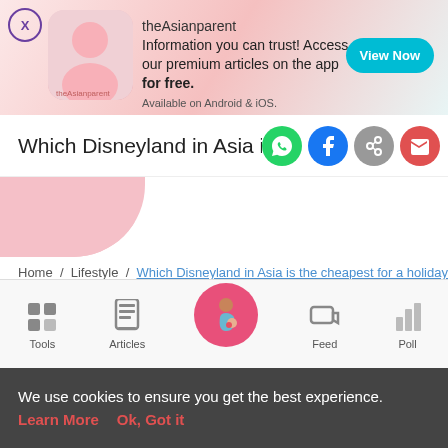[Figure (screenshot): theAsianparent app advertisement banner with logo, tagline 'Information you can trust! Access our premium articles on the app for free. Available on Android & iOS.' and a teal View Now button]
Which Disneyland in Asia is the cheapest for a holiday?
[Figure (photo): Pink circle partially visible, likely article hero image]
Home / Lifestyle / Which Disneyland in Asia is the cheapest for a holiday?
families
holiday
singaporeans
Disneyland
cheapest
Share:
[Figure (screenshot): Bottom navigation bar with Tools, Articles, home button (pregnant woman icon), Feed, and Poll icons]
We use cookies to ensure you get the best experience.
Learn More   Ok, Got it